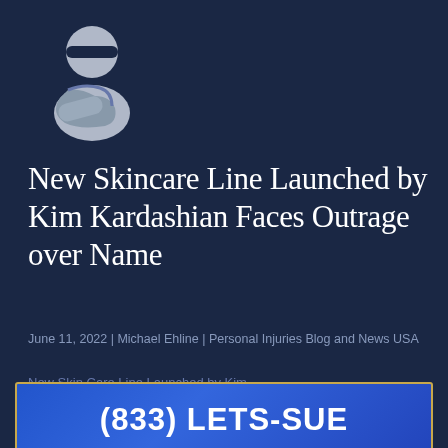[Figure (illustration): Gray personal injury / accident victim icon: stylized figure with sling/injured arm, on dark navy background]
New Skincare Line Launched by Kim Kardashian Faces Outrage over Name
June 11, 2022 | Michael Ehline | Personal Injuries Blog and News USA
New Skin Care Line Launched by Kim
(833) LETS-SUE
has come under great outrage and fire after launching her new venture, SKKN by Kim